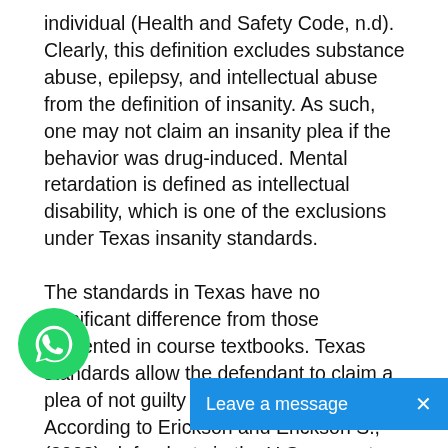individual (Health and Safety Code, n.d). Clearly, this definition excludes substance abuse, epilepsy, and intellectual abuse from the definition of insanity. As such, one may not claim an insanity plea if the behavior was drug-induced. Mental retardation is defined as intellectual disability, which is one of the exclusions under Texas insanity standards.

The standards in Texas have no significant difference from those presented in course textbooks. Texas standards allow the defendant to claim a plea of not guilty by reason of insanity. According to Erickson and Erickson S., (2008), defendants in the U.S. can enter into a plea of not-guilty-by-reason-of-insanity where insanity is the main cause of the behavior. The standards are also similar in that insanity resulting from use of drugs is not recognized as credible for entering a plea of not-guilty-by-reason-of-insanity. Moreover, the defendant must be competent to stand trial in case charges are bro